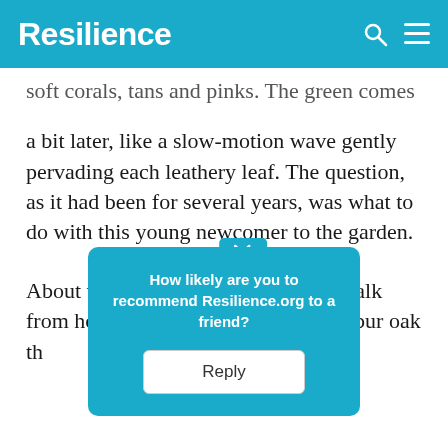Resilience
soft corals, tans and pinks. The green comes a bit later, like a slow-motion wave gently pervading each leathery leaf. The question, as it had been for several years, was what to do with this young newcomer to the garden.
About ten feet away and across the walk from house to garage stands a s[...]nd bur oak th[...]e twelve[...]ng it
[Figure (screenshot): A teal popup overlay with text 'How likely are you to recommend Resilience.org to a friend?' and a 'Reply' button]